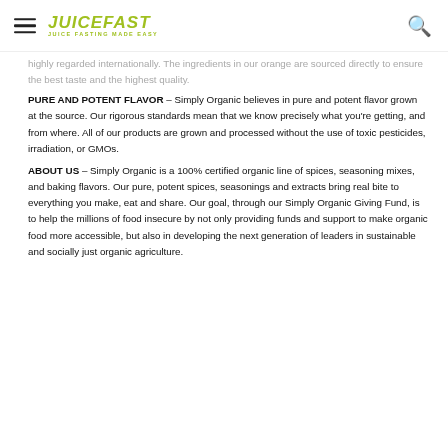JUICEFAST — JUICE FASTING MADE EASY
highly regarded internationally. The ingredients in our orange are sourced directly to ensure the best taste and the highest quality.
PURE AND POTENT FLAVOR – Simply Organic believes in pure and potent flavor grown at the source. Our rigorous standards mean that we know precisely what you're getting, and from where. All of our products are grown and processed without the use of toxic pesticides, irradiation, or GMOs.
ABOUT US – Simply Organic is a 100% certified organic line of spices, seasoning mixes, and baking flavors. Our pure, potent spices, seasonings and extracts bring real bite to everything you make, eat and share. Our goal, through our Simply Organic Giving Fund, is to help the millions of food insecure by not only providing funds and support to make organic food more accessible, but also in developing the next generation of leaders in sustainable and socially just organic agriculture.